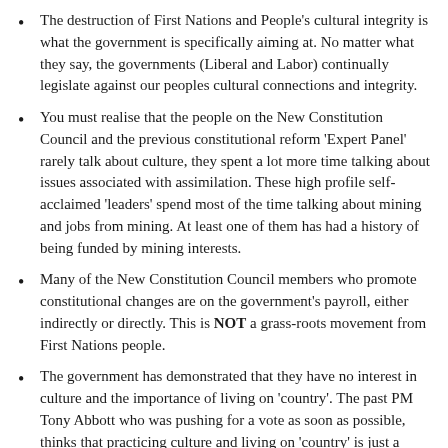The destruction of First Nations and People's cultural integrity is what the government is specifically aiming at. No matter what they say, the governments (Liberal and Labor) continually legislate against our peoples cultural connections and integrity.
You must realise that the people on the New Constitution Council and the previous constitutional reform 'Expert Panel' rarely talk about culture, they spent a lot more time talking about issues associated with assimilation. These high profile self-acclaimed 'leaders' spend most of the time talking about mining and jobs from mining. At least one of them has had a history of being funded by mining interests.
Many of the New Constitution Council members who promote constitutional changes are on the government's payroll, either indirectly or directly. This is NOT a grass-roots movement from First Nations people.
The government has demonstrated that they have no interest in culture and the importance of living on 'country'. The past PM Tony Abbott who was pushing for a vote as soon as possible, thinks that practicing culture and living on 'country' is just a lifestyle choice.
- - - - - - - - -